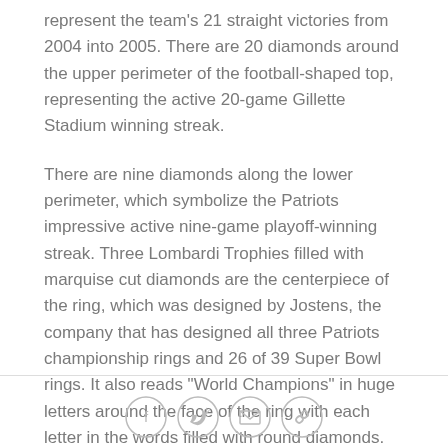represent the team's 21 straight victories from 2004 into 2005. There are 20 diamonds around the upper perimeter of the football-shaped top, representing the active 20-game Gillette Stadium winning streak.
There are nine diamonds along the lower perimeter, which symbolize the Patriots impressive active nine-game playoff-winning streak. Three Lombardi Trophies filled with marquise cut diamonds are the centerpiece of the ring, which was designed by Jostens, the company that has designed all three Patriots championship rings and 26 of 39 Super Bowl rings. It also reads "World Champions" in huge letters around the face of the ring with each letter in the words filled with round diamonds.
r
[Figure (other): Social sharing icon buttons: Facebook (f), Twitter (bird), Email (envelope), Link/chain icon — all in grey circles]